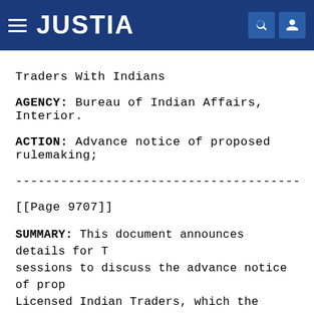JUSTIA
Traders With Indians
AGENCY: Bureau of Indian Affairs, Interior.
ACTION: Advance notice of proposed rulemaking;
------------------------------------------------------------------------
[[Page 9707]]
SUMMARY: This document announces details for T sessions to discuss the advance notice of prop Licensed Indian Traders, which the Department (Department) published on December 9, 2016. Th interested in whether to address the Indian tr